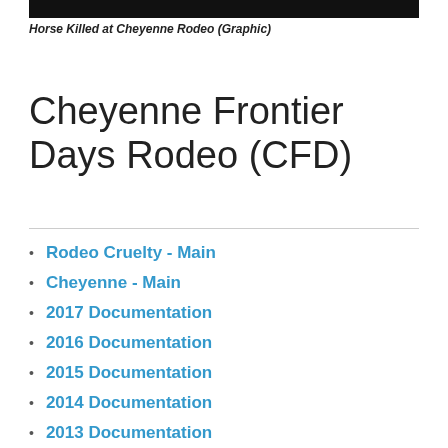[Figure (photo): Black bar image at top of page]
Horse Killed at Cheyenne Rodeo (Graphic)
Cheyenne Frontier Days Rodeo (CFD)
Rodeo Cruelty - Main
Cheyenne - Main
2017 Documentation
2016 Documentation
2015 Documentation
2014 Documentation
2013 Documentation
2012 Documentation
2011 Documentation